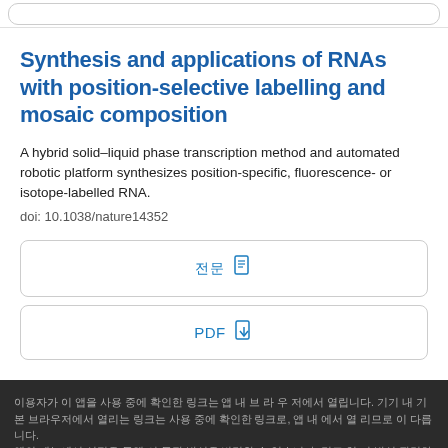Synthesis and applications of RNAs with position-selective labelling and mosaic composition
A hybrid solid–liquid phase transcription method and automated robotic platform synthesizes position-specific, fluorescence- or isotope-labelled RNA.
doi: 10.1038/nature14352
전체 보기 (View Full Text button)
PDF (PDF download button)
Footer with Korean text describing service information.